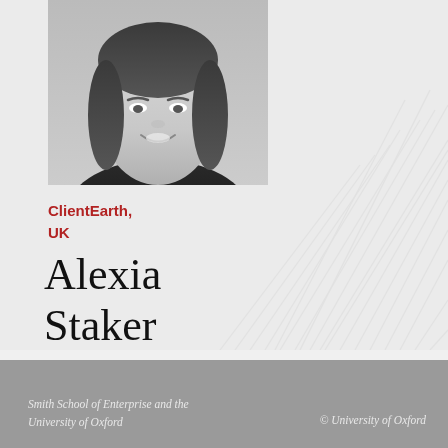[Figure (photo): Black and white headshot photo of Alexia Staker, a woman with dark hair, smiling, wearing a dark top]
ClientEarth,
UK
Alexia Staker
Lawyer (Australian qualified), Company and Financial Project, ClientEarth
Smith School of Enterprise and the Environment, University of Oxford
© University of Oxford